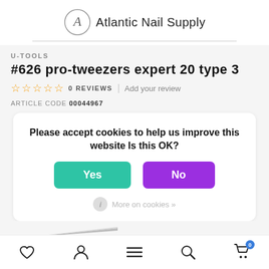[Figure (logo): Atlantic Nail Supply logo with circular A monogram and brand name text]
U-TOOLS
#626 pro-tweezers expert 20 type 3
0 REVIEWS | Add your review
ARTICLE CODE 00044967
Please accept cookies to help us improve this website Is this OK?
Yes
No
More on cookies »